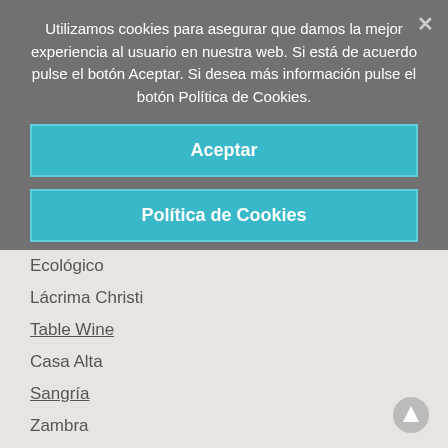Utilizamos cookies para asegurar que damos la mejor experiencia al usuario en nuestra web. Si está de acuerdo pulse el botón Aceptar. Si desea más información pulse el botón Política de Cookies.
Aceptar
Política de Cookies
Ecológico
Lácrima Christi
Table Wine
Casa Alta
Sangría
Zambra
Olive Oil
Origin
Our Farm
Varieties